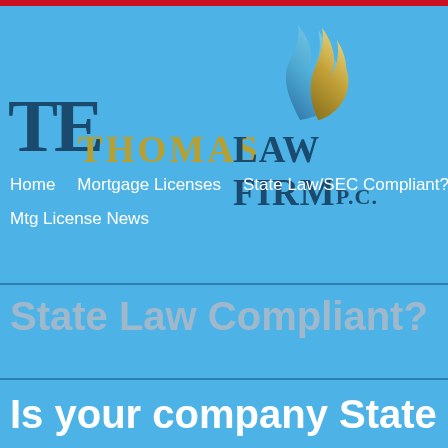[Figure (logo): Thomas Law Firm P.C. logo with flame graphic, large TE letters in dark blue and gold, THOMAS in gold serif font, LAW FIRM in dark blue serif font, P.C. in smaller dark blue]
Home   Mortgage Licenses   State Law/SEC Compliant?   YouTube   Mtg License News
State Law Compliant?
Is your company State Law Co…